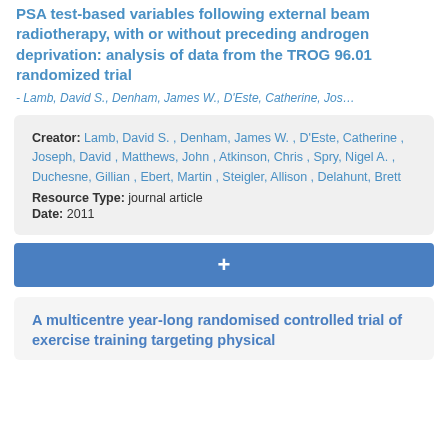PSA test-based variables following external beam radiotherapy, with or without preceding androgen deprivation: analysis of data from the TROG 96.01 randomized trial
- Lamb, David S., Denham, James W., D'Este, Catherine, Jos…
Creator: Lamb, David S. , Denham, James W. , D'Este, Catherine , Joseph, David , Matthews, John , Atkinson, Chris , Spry, Nigel A. , Duchesne, Gillian , Ebert, Martin , Steigler, Allison , Delahunt, Brett
Resource Type: journal article
Date: 2011
+
A multicentre year-long randomised controlled trial of exercise training targeting physical